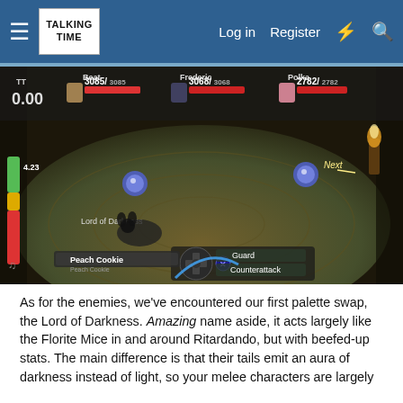Talking Time — Log in  Register
[Figure (screenshot): RPG game screenshot showing battle scene with characters Beat (3085/3085 HP), Frederic (3068/3068 HP), Polka (2782/2782 HP) vs Lord of Darkness enemy. Turn timer shows TT 0.00 and 4.23. Action menu shows Peach Cookie, Guard, Counterattack options.]
As for the enemies, we've encountered our first palette swap, the Lord of Darkness. Amazing name aside, it acts largely like the Florite Mice in and around Ritardando, but with beefed-up stats. The main difference is that their tails emit an aura of darkness instead of light, so your melee characters are largely